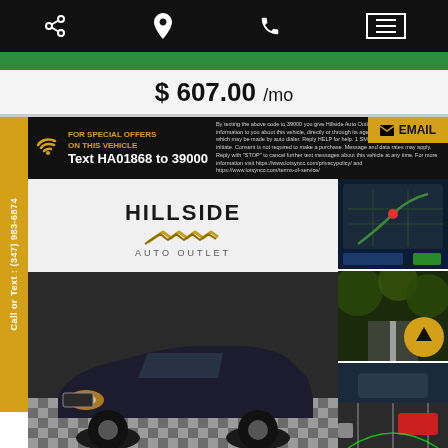Navigation bar with share, location, phone, and menu icons
$ 607.00 /mo
[Figure (photo): Car dealership listing photo showing a dark blue Ford Explorer SUV at Hillside Auto Outlet, with SMS offer banner 'Text HA01868 to 39000', side thumbnail images of a navigation screen and backup camera, and an EMAIL button.]
Call or Text : (347) 983-6874